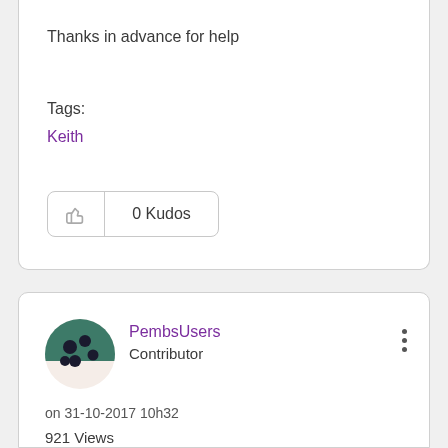Thanks in advance for help
Tags:
Keith
0 Kudos
PembsUsers
Contributor
on 31-10-2017 10h32
921 Views
Message 27 of 27
Re: Configure other provider's Wireless Access Point and